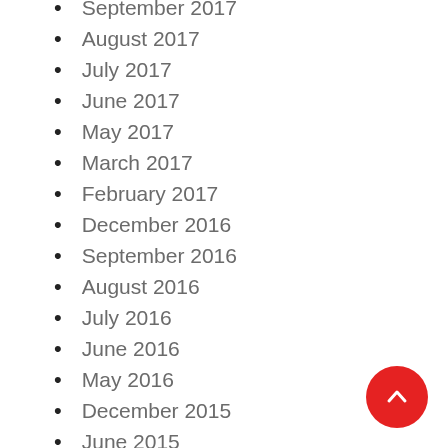September 2017
August 2017
July 2017
June 2017
May 2017
March 2017
February 2017
December 2016
September 2016
August 2016
July 2016
June 2016
May 2016
December 2015
June 2015
May 2015
February 2015
January 2015
October 2014